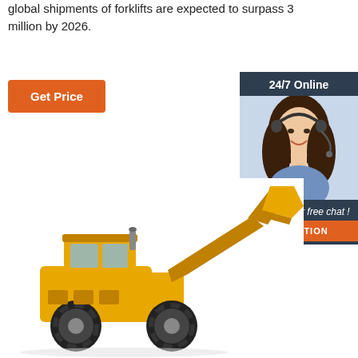global shipments of forklifts are expected to surpass 3 million by 2026.
Get Price
[Figure (infographic): Sidebar widget with dark blue background. Header reads '24/7 Online' in white. Below is a photo of a smiling woman wearing a headset. Below the photo is italic text 'Click here for free chat !' and an orange button reading 'QUOTATION'.]
[Figure (photo): Yellow wheel loader / construction forklift vehicle on white background, facing left with raised bucket arm.]